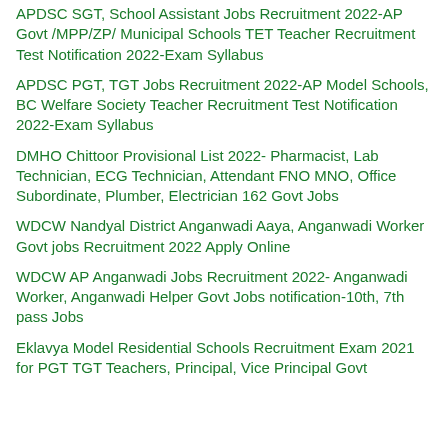APDSC SGT, School Assistant Jobs Recruitment 2022-AP Govt /MPP/ZP/ Municipal Schools TET Teacher Recruitment Test Notification 2022-Exam Syllabus
APDSC PGT, TGT Jobs Recruitment 2022-AP Model Schools, BC Welfare Society Teacher Recruitment Test Notification 2022-Exam Syllabus
DMHO Chittoor Provisional List 2022- Pharmacist, Lab Technician, ECG Technician, Attendant FNO MNO, Office Subordinate, Plumber, Electrician 162 Govt Jobs
WDCW Nandyal District Anganwadi Aaya, Anganwadi Worker Govt jobs Recruitment 2022 Apply Online
WDCW AP Anganwadi Jobs Recruitment 2022- Anganwadi Worker, Anganwadi Helper Govt Jobs notification-10th, 7th pass Jobs
Eklavya Model Residential Schools Recruitment Exam 2021 for PGT TGT Teachers, Principal, Vice Principal Govt